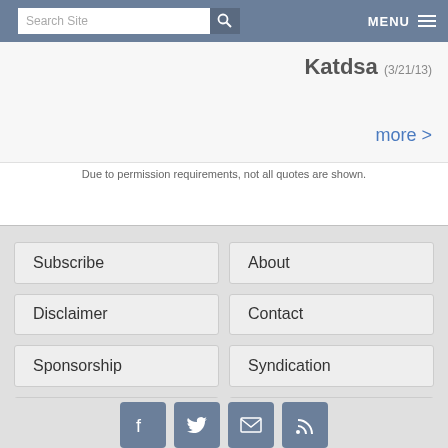Search Site | MENU
Katdsa (3/21/13)
more >
Due to permission requirements, not all quotes are shown.
Subscribe
About
Disclaimer
Contact
Sponsorship
Syndication
Careers
Policies
[Figure (illustration): Social media icons: Facebook, Twitter, Email, RSS]